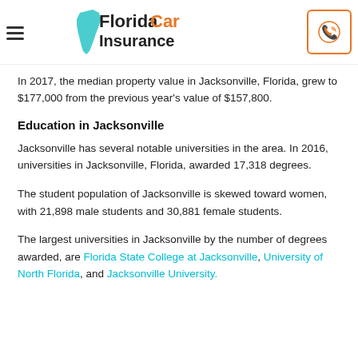Florida Car Insurance
In 2017, the median property value in Jacksonville, Florida, grew to $177,000 from the previous year's value of $157,800.
Education in Jacksonville
Jacksonville has several notable universities in the area. In 2016, universities in Jacksonville, Florida, awarded 17,318 degrees.
The student population of Jacksonville is skewed toward women, with 21,898 male students and 30,881 female students.
The largest universities in Jacksonville by the number of degrees awarded, are Florida State College at Jacksonville, University of North Florida, and Jacksonville University.